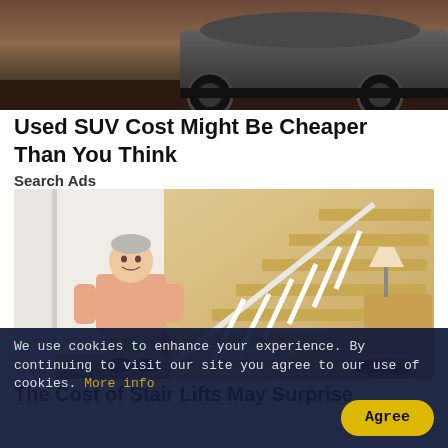[Figure (photo): Top portion of a car (SUV) showing the back wheel area against a dark outdoor background, cropped at the top of the page]
Used SUV Cost Might Be Cheaper Than You Think
Search Ads
[Figure (photo): Elderly man sitting on a stair lift chair at the bottom of a staircase in a home interior. White banister visible, wood floors, lamp and furniture in background.]
The Cost of Stair Lifts May Surprise
We use cookies to enhance your experience. By continuing to visit our site you agree to our use of cookies. More info